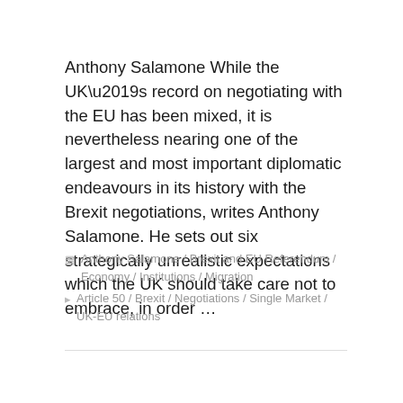Anthony Salamone While the UK’s record on negotiating with the EU has been mixed, it is nevertheless nearing one of the largest and most important diplomatic endeavours in its history with the Brexit negotiations, writes Anthony Salamone. He sets out six strategically unrealistic expectations which the UK should take care not to embrace, in order …
Anthony Salamone / Brexit and EU Referendum / Economy / Institutions / Migration
Article 50 / Brexit / Negotiations / Single Market / UK-EU relations